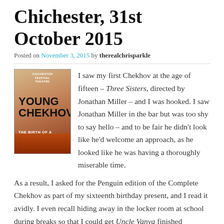Chichester, 31st October 2015
Posted on November 3, 2015 by therealchrisparkle
[Figure (photo): Book cover for 'Young Chekhov: The Birth of a Genius' from Chichester Festival Theatre, showing trees against a red/orange background with bold black text.]
I saw my first Chekhov at the age of fifteen – Three Sisters, directed by Jonathan Miller – and I was hooked. I saw Jonathan Miller in the bar but was too shy to say hello – and to be fair he didn't look like he'd welcome an approach, as he looked like he was having a thoroughly miserable time. As a result, I asked for the Penguin edition of the Complete Chekhov as part of my sixteenth birthday present, and I read it avidly. I even recall hiding away in the locker room at school during breaks so that I could get Uncle Vanya finished...